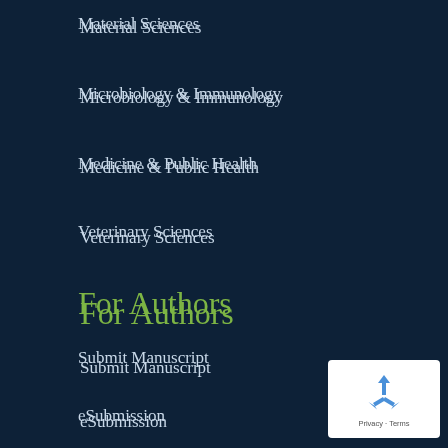Material Sciences
Microbiology & Immunology
Medicine & Public Health
Veterinary Sciences
For Authors
Submit Manuscript
eSubmission
Submitting a Proposal
Editing Services
Welcoming Article Submission
Article Repository
Editorial and Publishing Ethics
Join as Editor/Reviewer
Contact Us
[Figure (logo): reCAPTCHA badge with recycling-arrow icon and Privacy - Terms text]